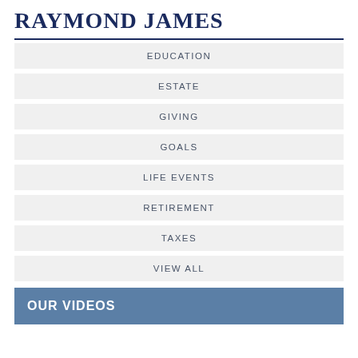RAYMOND JAMES
EDUCATION
ESTATE
GIVING
GOALS
LIFE EVENTS
RETIREMENT
TAXES
VIEW ALL
OUR VIDEOS